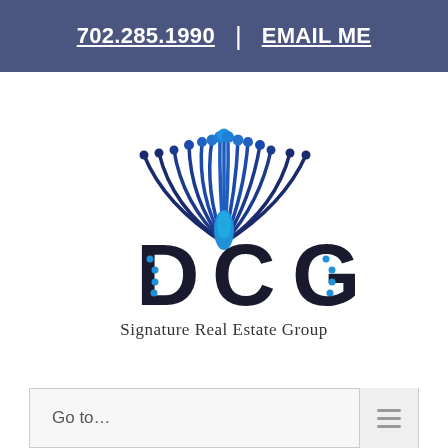702.285.1990 | EMAIL ME
[Figure (logo): DCG Signature Real Estate Group logo with peacock feather design above stylized letters DCG]
Go to...
[Figure (photo): Interior room photo showing dark gray walls and a vertical accent panel with wood-color trim, light gray wall visible on right side]